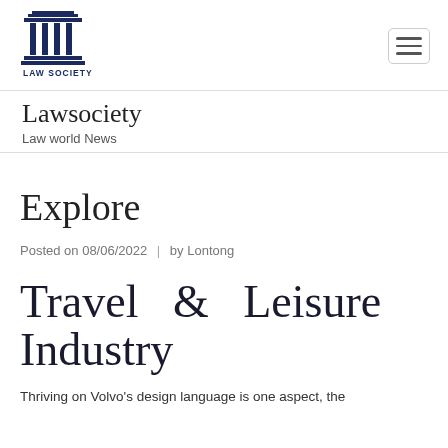[Figure (logo): Law Society logo with column/pillar icon and LAW SOCIETY text]
Lawsociety
Law world News
Explore
Posted on 08/06/2022  |  by Lontong
Travel & Leisure Industry
Thriving on Volvo's design language is one aspect, the